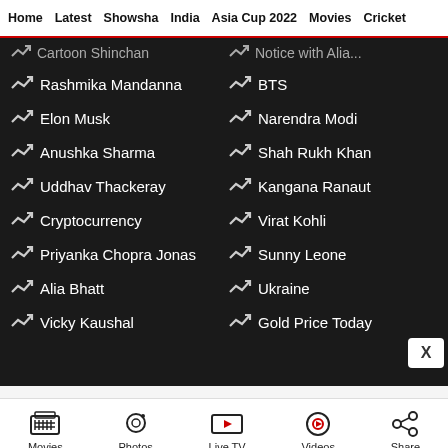Home  Latest  Showsha  India  Asia Cup 2022  Movies  Cricket
Cartoon Shinchan (truncated, partial)
Rashmika Mandanna
BTS
Elon Musk
Narendra Modi
Anushka Sharma
Shah Rukh Khan
Uddhav Thackeray
Kangana Ranaut
Cryptocurrency
Virat Kohli
Priyanka Chopra Jonas
Sunny Leone
Alia Bhatt
Ukraine
Vicky Kaushal
Gold Price Today
Movies  Photos  Live TV  Videos  Share